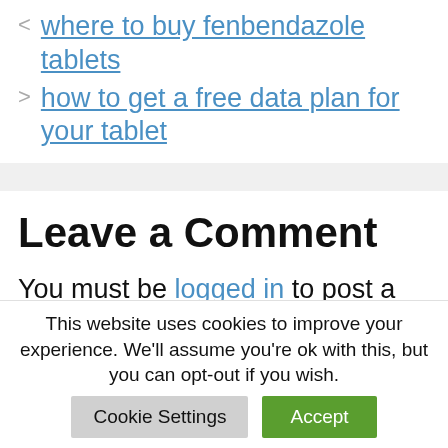< where to buy fenbendazole tablets
> how to get a free data plan for your tablet
Leave a Comment
You must be logged in to post a comment.
This website uses cookies to improve your experience. We'll assume you're ok with this, but you can opt-out if you wish.